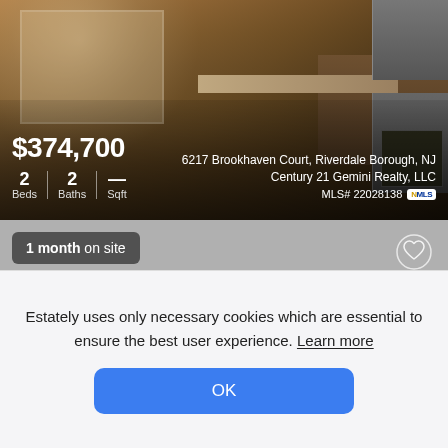[Figure (photo): Interior photo of a kitchen/living area with wooden cabinets, granite countertop, stainless steel appliances, and a window with natural light]
$374,700
2 Beds | 2 Baths | — Sqft
6217 Brookhaven Court, Riverdale Borough, NJ
Century 21 Gemini Realty, LLC
MLS# 22028138
1 month on site
Estately uses only necessary cookies which are essential to ensure the best user experience. Learn more
OK